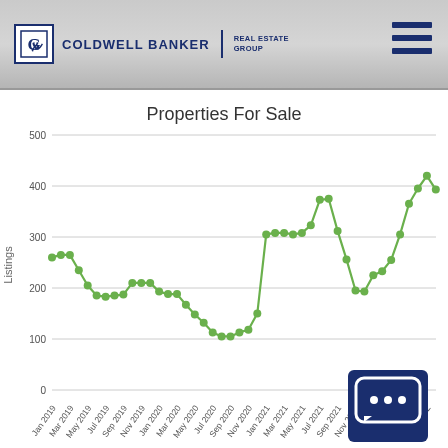Coldwell Banker Real Estate Group
[Figure (line-chart): Properties For Sale]